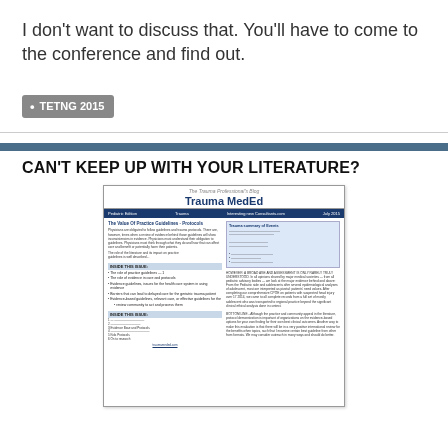I don't want to discuss that. You'll have to come to the conference and find out.
TETNG 2015
CAN'T KEEP UP WITH YOUR LITERATURE?
[Figure (screenshot): Screenshot of the Trauma MedEd newsletter, a medical education publication for trauma professionals, showing a two-column layout with articles, bullet points, and a highlighted section.]